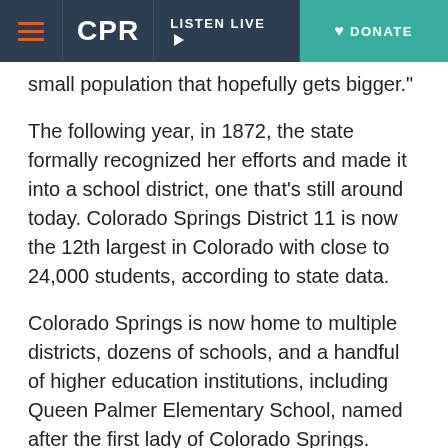CPR | LISTEN LIVE | DONATE
small population that hopefully gets bigger."
The following year, in 1872, the state formally recognized her efforts and made it into a school district, one that's still around today. Colorado Springs District 11 is now the 12th largest in Colorado with close to 24,000 students, according to state data.
Colorado Springs is now home to multiple districts, dozens of schools, and a handful of higher education institutions, including Queen Palmer Elementary School, named after the first lady of Colorado Springs.